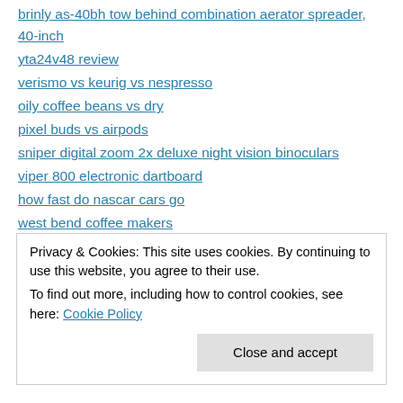brinly as-40bh tow behind combination aerator spreader, 40-inch
yta24v48 review
verismo vs keurig vs nespresso
oily coffee beans vs dry
pixel buds vs airpods
sniper digital zoom 2x deluxe night vision binoculars
viper 800 electronic dartboard
how fast do nascar cars go
west bend coffee makers
drum plug aerator
my homepage; vortex sight review
Privacy & Cookies: This site uses cookies. By continuing to use this website, you agree to their use.
To find out more, including how to control cookies, see here: Cookie Policy
Close and accept